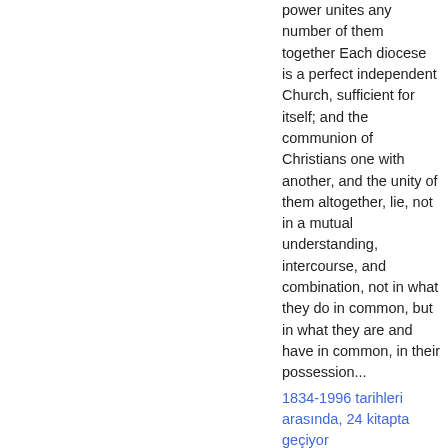power unites any number of them together Each diocese is a perfect independent Church, sufficient for itself; and the communion of Christians one with another, and the unity of them altogether, lie, not in a mutual understanding, intercourse, and combination, not in what they do in common, but in what they are and have in common, in their possession...
1834-1996 tarihleri arasında, 24 kitapta geçiyor
Sayfa 69 - Another parable he spoke to them...